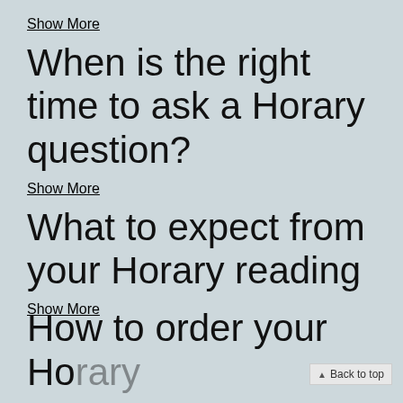Show More
When is the right time to ask a Horary question?
Show More
What to expect from your Horary reading
Show More
How to order your Horary